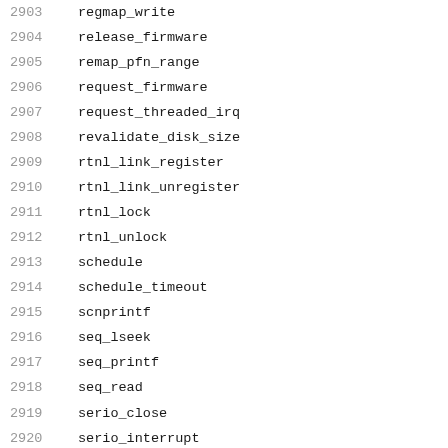2903    regmap_write
2904    release_firmware
2905    remap_pfn_range
2906    request_firmware
2907    request_threaded_irq
2908    revalidate_disk_size
2909    rtnl_link_register
2910    rtnl_link_unregister
2911    rtnl_lock
2912    rtnl_unlock
2913    schedule
2914    schedule_timeout
2915    scnprintf
2916    seq_lseek
2917    seq_printf
2918    seq_read
2919    serio_close
2920    serio_interrupt
2921    serio_open
2922    serio_reconnect
2923    __serio_register_driver
2924    __serio_register_port